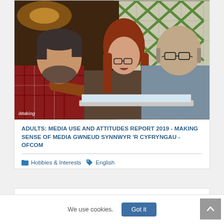[Figure (photo): Three people sitting together looking at a tablet/laptop screen. On the left is a man in a red plaid shirt with a beard, in the middle is a woman with red/auburn hair and glasses, and on the right is a bald man with glasses wearing a grey shirt. They are in what appears to be a cafe or similar venue with decorative tiled walls in the background. The photo has a watermark reading 'iMaking'.]
ADULTS: MEDIA USE AND ATTITUDES REPORT 2019 - MAKING SENSE OF MEDIA GWNEUD SYNNWYR 'R CYFRYNGAU - OFCOM
Hobbies & Interests  English
We use cookies.